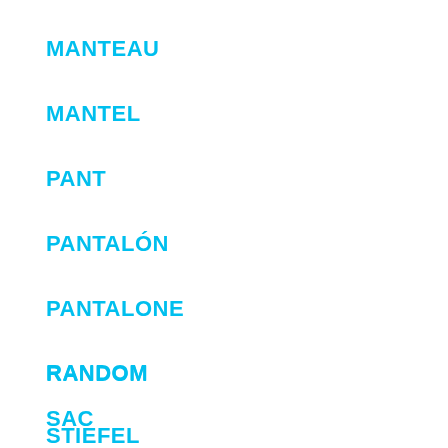MANTEAU
MANTEL
PANT
PANTALÓN
PANTALONE
RANDOM
SAC
STIEFEL